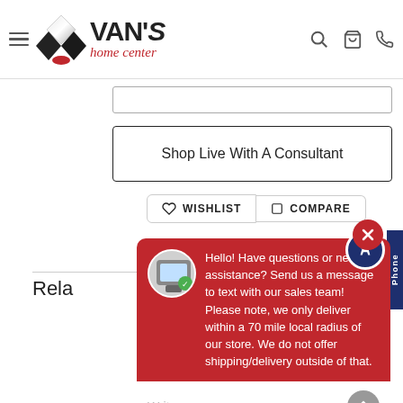VAN'S home center
Shop Live With A Consultant
WISHLIST  COMPARE
Rela
[Figure (screenshot): Chat popup with red background. Message reads: Hello! Have questions or need assistance? Send us a message to text with our sales team! Please note, we only deliver within a 70 mile local radius of our store. We do not offer shipping/delivery outside of that. Input field at bottom says 'Write your message...']